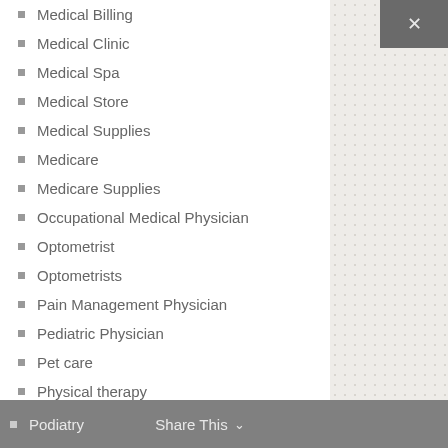Medical Billing
Medical Clinic
Medical Spa
Medical Store
Medical Supplies
Medicare
Medicare Supplies
Occupational Medical Physician
Optometrist
Optometrists
Pain Management Physician
Pediatric Physician
Pet care
Physical therapy
Plastic Surgeon
Podiatry
Share This ∨  ✕